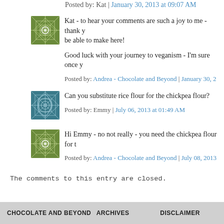Posted by: Kat | January 30, 2013 at 09:07 AM
[Figure (illustration): Green geometric star pattern avatar for Andrea - Chocolate and Beyond]
Kat - to hear your comments are such a joy to me - thank y... be able to make here!
Good luck with your journey to veganism - I'm sure once y...
Posted by: Andrea - Chocolate and Beyond | January 30, 2...
[Figure (illustration): Teal/blue geometric radial pattern avatar]
Can you substitute rice flour for the chickpea flour?
Posted by: Emmy | July 06, 2013 at 01:49 AM
[Figure (illustration): Green geometric star pattern avatar for Andrea - Chocolate and Beyond]
Hi Emmy - no not really - you need the chickpea flour for t...
Posted by: Andrea - Chocolate and Beyond | July 08, 2013...
The comments to this entry are closed.
CHOCOLATE AND BEYOND   ARCHIVES   DISCLAIMER